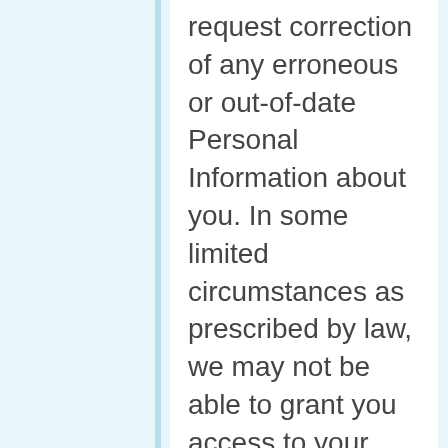request correction of any erroneous or out-of-date Personal Information about you. In some limited circumstances as prescribed by law, we may not be able to grant you access to your information.
Mountainview Kinesiology pledges to investigate any complaint you may have regarding our use of Personal Information and to comply fully with the legal or regulatory supervisory authorities responsible for enforcing our adherence to the